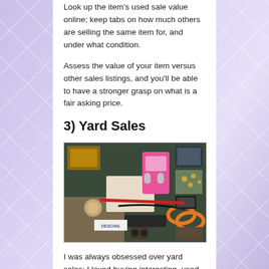Look up the item's used sale value online; keep tabs on how much others are selling the same item for, and under what condition.
Assess the value of your item versus other sales listings, and you'll be able to have a stronger grasp on what is a fair asking price.
3) Yard Sales
[Figure (photo): A top-down photo of a disorganized collection of used items at a yard sale: a pink toy car, various small electronics, VHS tapes, orange hoop rings, miscellaneous tools and accessories, framed pictures, and a small sign reading 'DESCHIS'.]
I was always obsessed over yard sales; I loved buying interesting, used items for cheap. It was thanks to yard sales